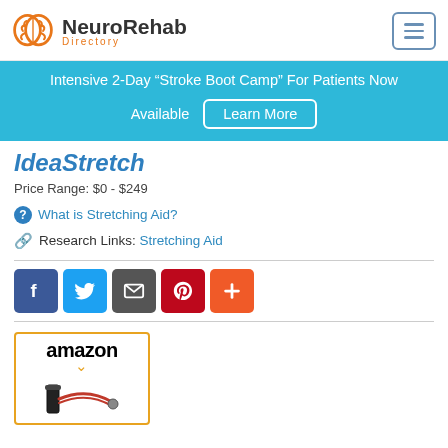NeuroRehab Directory
Intensive 2-Day “Stroke Boot Camp” For Patients Now Available
Learn More
IdeaStretch
Price Range: $0 - $249
What is Stretching Aid?
Research Links: Stretching Aid
[Figure (logo): Social sharing buttons: Facebook, Twitter, Email, Pinterest, Add More]
[Figure (photo): Amazon product listing box showing a stretching aid device]